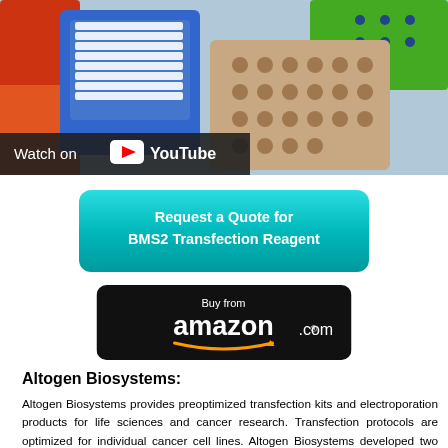[Figure (screenshot): YouTube video thumbnail showing laboratory supplies (pipette tips, multi-well plates, colorful lab equipment). Overlay bar reads 'Watch on YouTube' with YouTube logo.]
[Figure (other): Teal/cyan button: 'Request a Quote for BMS2 Transfection Reagent']
[Figure (other): Black Amazon button: 'Buy from amazon.com' with orange smile arrow]
Altogen Biosystems:
Altogen Biosystems provides preoptimized transfection kits and electroporation products for life sciences and cancer research. Transfection protocols are optimized for individual cancer cell lines. Altogen Biosystems developed two types of in vivo delivery kits (animal transfection): 1) Tissue-targeted reagents (delivery of proteins, DNA, and RNA into liver, pancreas, or